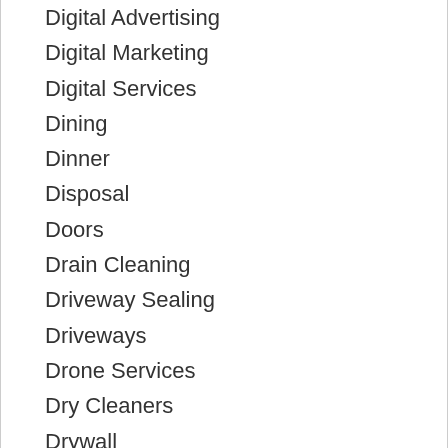Digital Advertising
Digital Marketing
Digital Services
Dining
Dinner
Disposal
Doors
Drain Cleaning
Driveway Sealing
Driveways
Drone Services
Dry Cleaners
Drywall
Dumpster Rental
Dumpsters